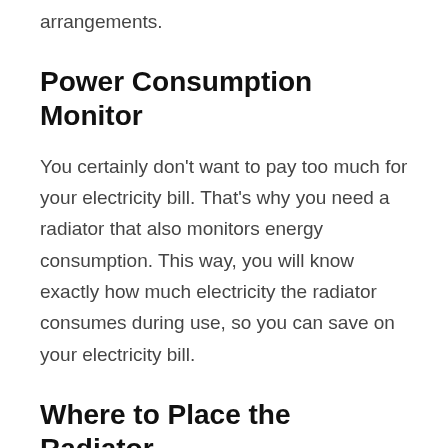arrangements.
Power Consumption Monitor
You certainly don't want to pay too much for your electricity bill. That's why you need a radiator that also monitors energy consumption. This way, you will know exactly how much electricity the radiator consumes during use, so you can save on your electricity bill.
Where to Place the Radiator
Now that you know all this about radiators, one last important question remains. Where to put the radiator? We have an answer for that too. For efficient use, you need to place the radiator in a